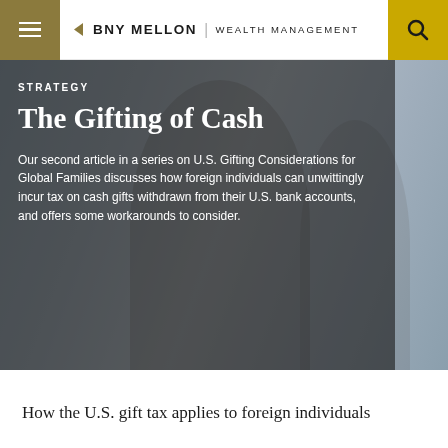BNY MELLON | WEALTH MANAGEMENT
[Figure (photo): Hero image showing a young woman in a library/study setting, overlaid with dark semi-transparent panel containing article headline and description]
STRATEGY
The Gifting of Cash
Our second article in a series on U.S. Gifting Considerations for Global Families discusses how foreign individuals can unwittingly incur tax on cash gifts withdrawn from their U.S. bank accounts, and offers some workarounds to consider.
How the U.S. gift tax applies to foreign individuals